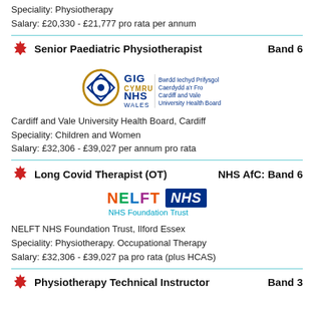Speciality:   Physiotherapy
Salary:   £20,330 - £21,777 pro rata per annum
Senior Paediatric Physiotherapist   Band 6
[Figure (logo): Cardiff and Vale University Health Board NHS Wales GIG Cymru logo]
Cardiff and Vale University Health Board, Cardiff
Speciality:   Children and Women
Salary:   £32,306 - £39,027 per annum pro rata
Long Covid Therapist (OT)   NHS AfC: Band 6
[Figure (logo): NELFT NHS Foundation Trust logo]
NELFT NHS Foundation Trust, Ilford Essex
Speciality:   Physiotherapy. Occupational Therapy
Salary:   £32,306 - £39,027 pa pro rata (plus HCAS)
Physiotherapy Technical Instructor   Band 3